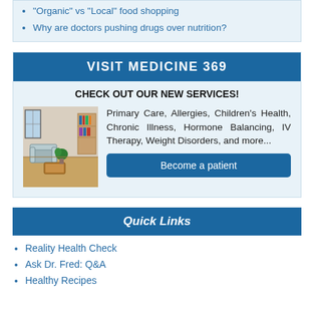"Organic" vs "Local" food shopping
Why are doctors pushing drugs over nutrition?
VISIT MEDICINE 369
CHECK OUT OUR NEW SERVICES!
[Figure (photo): Interior of a medical office waiting room with chairs and shelving]
Primary Care, Allergies, Children's Health, Chronic Illness, Hormone Balancing, IV Therapy, Weight Disorders, and more...
Become a patient
Quick Links
Reality Health Check
Ask Dr. Fred: Q&A
Healthy Recipes